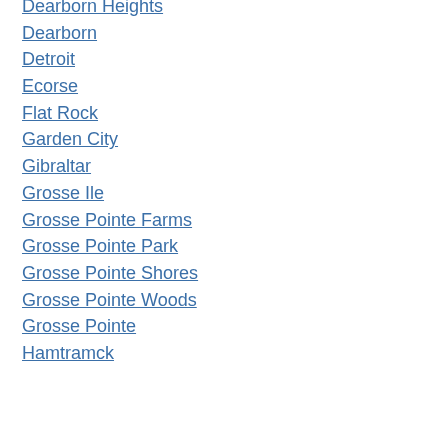Dearborn Heights
Dearborn
Detroit
Ecorse
Flat Rock
Garden City
Gibraltar
Grosse Ile
Grosse Pointe Farms
Grosse Pointe Park
Grosse Pointe Shores
Grosse Pointe Woods
Grosse Pointe
Hamtramck